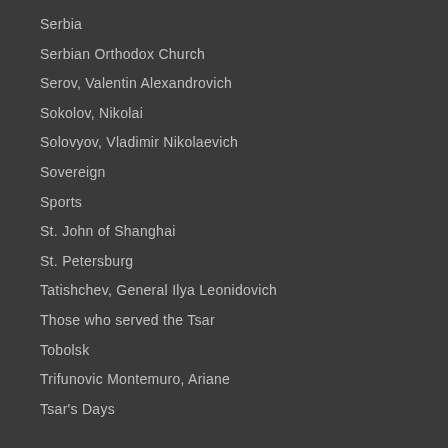Serbia
Serbian Orthodox Church
Serov, Valentin Alexandrovich
Sokolov, Nikolai
Solovyov, Vladimir Nikolaevich
Sovereign
Sports
St. John of Shanghai
St. Petersburg
Tatishchev, General Ilya Leonidovich
Those who served the Tsar
Tobolsk
Trifunovic Montemuro, Ariane
Tsar's Days